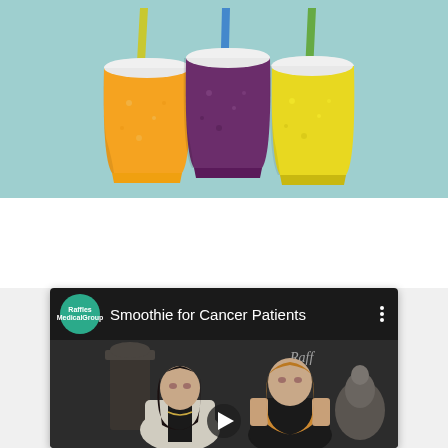[Figure (illustration): Three smoothie cups with straws on a light teal/blue background. Left cup contains orange smoothie with yellow straw, middle cup contains purple/berry smoothie with blue straw, right cup contains yellow smoothie with green straw.]
[Figure (screenshot): YouTube-style video thumbnail for 'Smoothie for Cancer Patients' by Raffles Medical Group. Shows two women in conversation outdoors. A play button is visible at the bottom center. The Raffles Medical Group circular logo in teal appears in the top bar.]